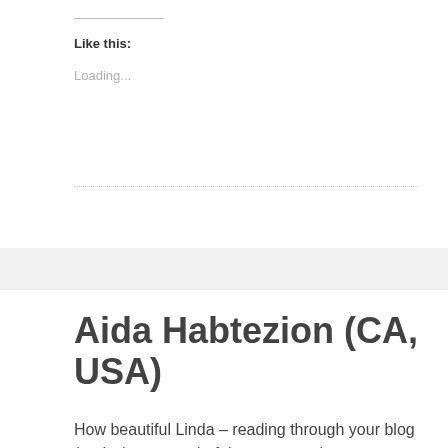Like this:
Loading...
Aida Habtezion (CA, USA)
How beautiful Linda – reading through your blog (and what a wonderful narrator and